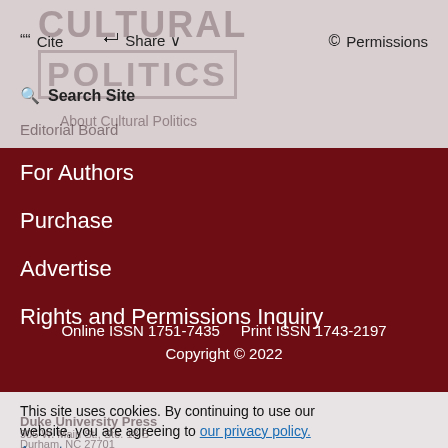CULTURAL POLITICS
Cite
Share
Permissions
Search Site
About Cultural Politics
Editorial Board
For Authors
Purchase
Advertise
Rights and Permissions Inquiry
Online ISSN 1751-7435    Print ISSN 1743-2197
Copyright © 2022
This site uses cookies. By continuing to use our website, you are agreeing to our privacy policy.
Accept
Duke University Press
905 W. Main St., Ste. 18 B
Durham, NC 27701